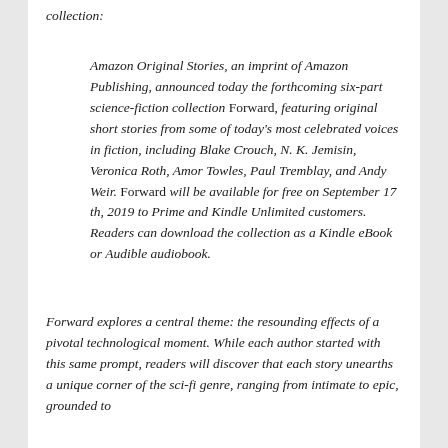collection:
Amazon Original Stories, an imprint of Amazon Publishing, announced today the forthcoming six-part science-fiction collection Forward, featuring original short stories from some of today's most celebrated voices in fiction, including Blake Crouch, N. K. Jemisin, Veronica Roth, Amor Towles, Paul Tremblay, and Andy Weir. Forward will be available for free on September 17 th, 2019 to Prime and Kindle Unlimited customers. Readers can download the collection as a Kindle eBook or Audible audiobook.
Forward explores a central theme: the resounding effects of a pivotal technological moment. While each author started with this same prompt, readers will discover that each story unearths a unique corner of the sci-fi genre, ranging from intimate to epic, grounded to